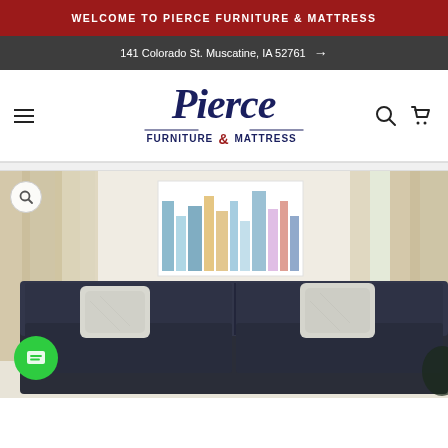WELCOME TO PIERCE FURNITURE & MATTRESS
141 Colorado St. Muscatine, IA 52761 →
[Figure (logo): Pierce Furniture & Mattress logo in navy blue with ampersand in dark red]
[Figure (photo): Dark charcoal sofa with light gray throw pillows in a living room setting with beige curtains and an abstract cityscape painting on the wall]